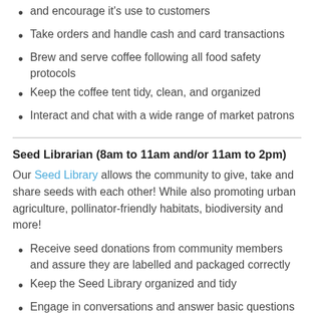and encourage it's use to customers
Take orders and handle cash and card transactions
Brew and serve coffee following all food safety protocols
Keep the coffee tent tidy, clean, and organized
Interact and chat with a wide range of market patrons
Seed Librarian (8am to 11am and/or 11am to 2pm)
Our Seed Library allows the community to give, take and share seeds with each other! While also promoting urban agriculture, pollinator-friendly habitats, biodiversity and more!
Receive seed donations from community members and assure they are labelled and packaged correctly
Keep the Seed Library organized and tidy
Engage in conversations and answer basic questions